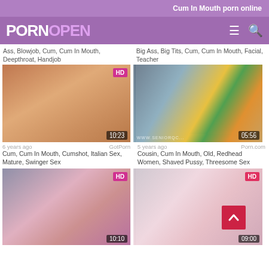Cum In Mouth porn online
[Figure (screenshot): PornOpen logo with purple background and menu/search icons]
Ass, Blowjob, Cum, Cum In Mouth, Deepthroat, Handjob
Big Ass, Big Tits, Cum, Cum In Mouth, Facial, Teacher
[Figure (photo): Video thumbnail showing close-up skin, HD badge, duration 10:23]
[Figure (photo): Video thumbnail showing woman with fruit bowl, duration 05:56]
6 years ago   GotPorn
Cum, Cum In Mouth, Cumshot, Italian Sex, Mature, Swinger Sex
5 years ago   Porn.com
Cousin, Cum In Mouth, Old, Redhead Women, Shaved Pussy, Threesome Sex
[Figure (photo): Video thumbnail showing pink lingerie, HD badge, duration 10:10]
[Figure (photo): Video thumbnail showing blonde woman, HD badge, duration 09:00]